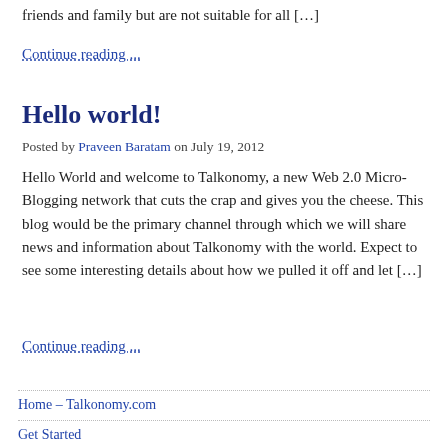friends and family but are not suitable for all […]
Continue reading ...
Hello world!
Posted by Praveen Baratam on July 19, 2012
Hello World and welcome to Talkonomy, a new Web 2.0 Micro-Blogging network that cuts the crap and gives you the cheese. This blog would be the primary channel through which we will share news and information about Talkonomy with the world. Expect to see some interesting details about how we pulled it off and let […]
Continue reading ...
Home – Talkonomy.com
Get Started